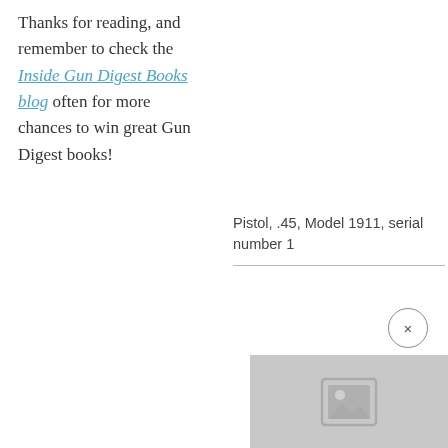Thanks for reading, and remember to check the Inside Gun Digest Books blog often for more chances to win great Gun Digest books!
Pistol, .45, Model 1911, serial number 1
[Figure (photo): Placeholder image thumbnail with image icon, representing a photo of Pistol, .45, Model 1911, serial number 1]